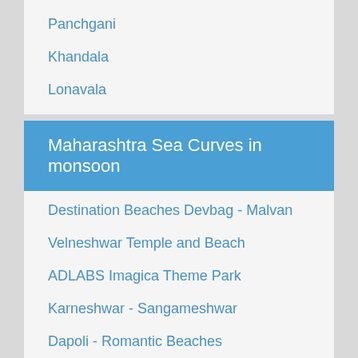Panchgani
Khandala
Lonavala
Maharashtra Sea Curves in monsoon
Destination Beaches Devbag - Malvan
Velneshwar Temple and Beach
ADLABS Imagica Theme Park
Karneshwar - Sangameshwar
Dapoli - Romantic Beaches
Scuba Diving near Tarkarli
Kashid and Murud Janjira
Mumbai Diary in a day
Ganpatipule - Konkan